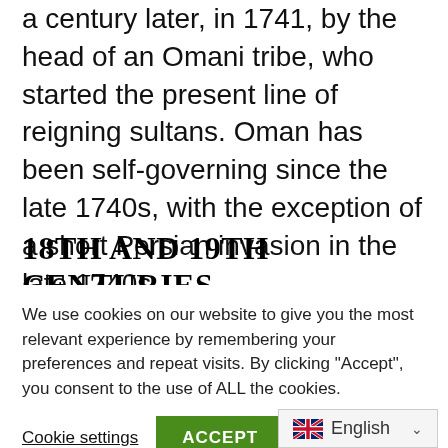Portuguese, only to be driven out themselves a century later, in 1741, by the head of an Omani tribe, who started the present line of reigning sultans. Oman has been self-governing since the late 1740s, with the exception of a short Persian invasion in the late 1740s.
18TH AND 19TH CENTURIES
We use cookies on our website to give you the most relevant experience by remembering your preferences and repeat visits. By clicking "Accept", you consent to the use of ALL the cookies.
Cookie settings  ACCEPT
English